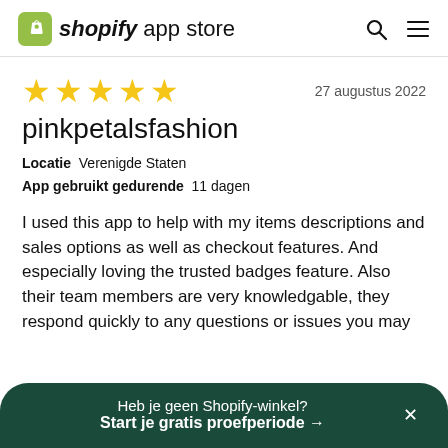shopify app store
[Figure (other): Five gold star rating]
27 augustus 2022
pinkpetalsfashion
Locatie  Verenigde Staten
App gebruikt gedurende  11 dagen
I used this app to help with my items descriptions and sales options as well as checkout features. And especially loving the trusted badges feature. Also their team members are very knowledgable, they respond quickly to any questions or issues you may
Heb je geen Shopify-winkel?
Start je gratis proefperiode →